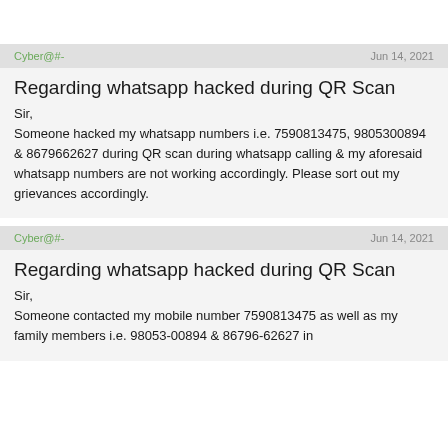Cyber@#-   Jun 14, 2021
Regarding whatsapp hacked during QR Scan
Sir,
Someone hacked my whatsapp numbers i.e. 7590813475, 9805300894 & 8679662627 during QR scan during whatsapp calling & my aforesaid whatsapp numbers are not working accordingly. Please sort out my grievances accordingly.
Cyber@#-   Jun 14, 2021
Regarding whatsapp hacked during QR Scan
Sir,
Someone contacted my mobile number 7590813475 as well as my family members i.e. 98053-00894 & 86796-62627 in